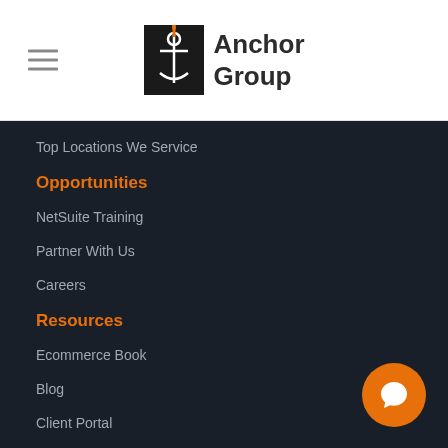[Figure (logo): Anchor Group logo with anchor icon in black square and text 'Anchor Group' in dark color]
Top Locations We Service
Opportunities
NetSuite Training
Partner With Us
Careers
Resources
Ecommerce Book
Blog
Client Portal